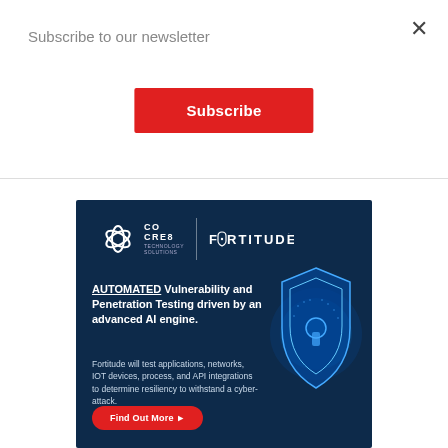Subscribe to our newsletter
Subscribe
[Figure (infographic): CoCre8 Fortitude advertisement banner on dark blue background. Logo shows CoCre8 Technology Solutions with Fortitude brand. Heading: AUTOMATED Vulnerability and Penetration Testing driven by an advanced AI engine. Body: Fortitude will test applications, networks, IOT devices, process, and API integrations to determine resiliency to withstand a cyber-attack. CTA button: Find Out More. Shield with lock icon graphic on right side.]